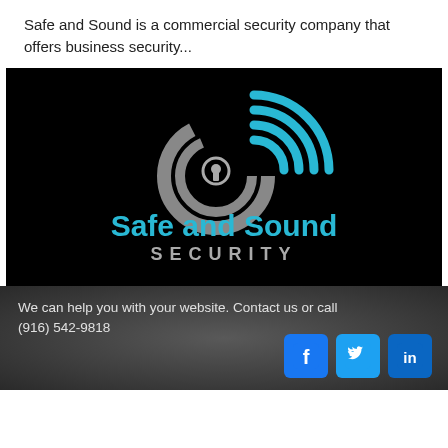Safe and Sound is a commercial security company that offers business security...
[Figure (logo): Safe and Sound Security logo on black background — grey circular S-shaped icon with keyhole center and cyan wifi/signal arcs above, with 'Safe and Sound' in cyan text and 'SECURITY' in grey spaced caps below]
We can help you with your website. Contact us or call (916) 542-9818